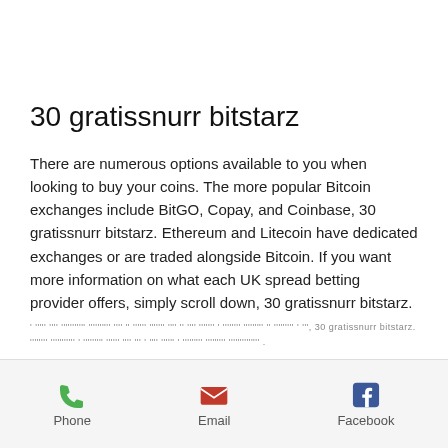30 gratissnurr bitstarz
There are numerous options available to you when looking to buy your coins. The more popular Bitcoin exchanges include BitGO, Copay, and Coinbase, 30 gratissnurr bitstarz. Ethereum and Litecoin have dedicated exchanges or are traded alongside Bitcoin. If you want more information on what each UK spread betting provider offers, simply scroll down, 30 gratissnurr bitstarz.
' ''''' '''' ''''''''''' '''''''''' '''' '' '''''' ''''''' '''' '' '''' ''''''' ' '''''''' ''''''''' '' ''''''''' ' ''', 30 gratissnurr bitstarz. '''''''' ''''''''''' ' ''''''''' '''''' '''' ''' ' '''' '''''' ' ''''''''' ''''''''' ''''''''''''''
Phone  Email  Facebook